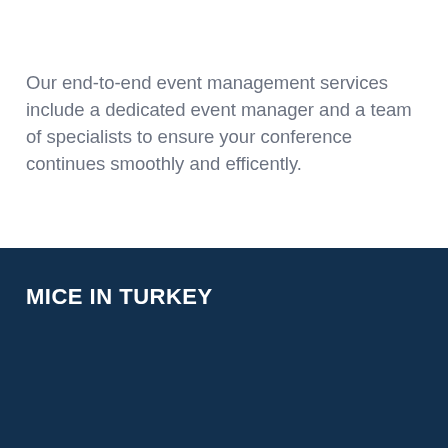Our end-to-end event management services include a dedicated event manager and a team of specialists to ensure your conference continues smoothly and efficently.
MICE IN TURKEY